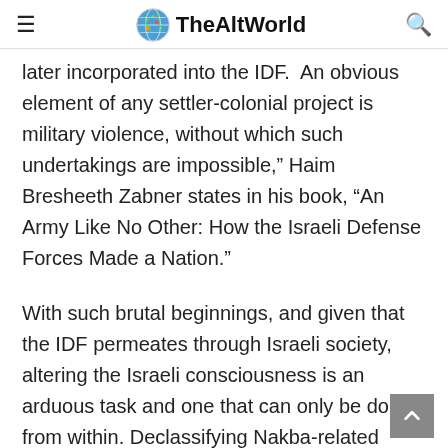TheAltWorld
later incorporated into the IDF. An obvious element of any settler-colonial project is military violence, without which such undertakings are impossible,” Haim Bresheeth Zabner states in his book, “An Army Like No Other: How the Israeli Defense Forces Made a Nation.”
With such brutal beginnings, and given that the IDF permeates through Israeli society, altering the Israeli consciousness is an arduous task and one that can only be done from within. Declassifying Nakba-related documents such as the ones partially published by Haaretz, constitute a direct challenge to the Israeli